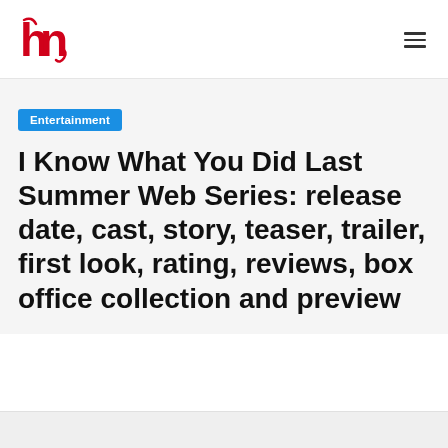hn logo / hamburger menu
Entertainment
I Know What You Did Last Summer Web Series: release date, cast, story, teaser, trailer, first look, rating, reviews, box office collection and preview